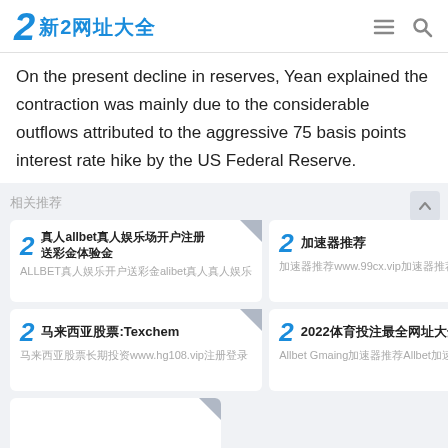2 新2网址大全
On the present decline in reserves, Yean explained the contraction was mainly due to the considerable outflows attributed to the aggressive 75 basis points interest rate hike by the US Federal Reserve.
相关推荐
[Figure (other): Grid of four link cards: 1) 真人allbet真人娱乐场开户注册送彩金体验金 / ALLBET真人娱乐开户送彩金alibet真人真人娱乐 2) 加速器推荐 / 加速器推荐www.99cx.vip加速器推荐加速器 3) 马来西亚股票:Texchem / 马来西亚股票长期投资www.hg108.vip注册登录 4) 2022体育投注最全网址大全 / Allbet Gmaing加速器推荐Allbet加速]